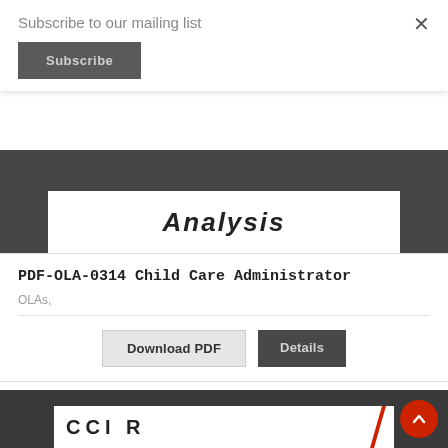Subscribe to our mailing list
Subscribe
[Figure (screenshot): Dark grey card image area showing the word 'Analysis' in bold italic on white background]
PDF-OLA-0314 Child Care Administrator
OLAs,
Download PDF
Details
[Figure (screenshot): Bottom dark card showing partial logo text 'CGIB' with a red diagonal slash mark on white background]